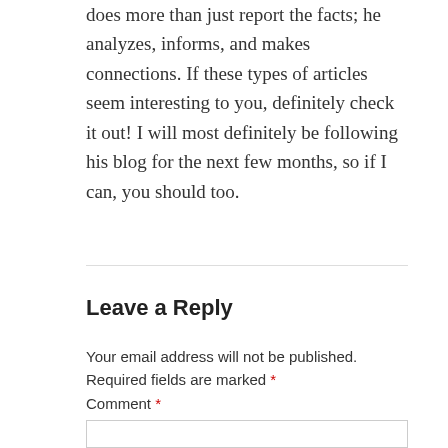does more than just report the facts; he analyzes, informs, and makes connections. If these types of articles seem interesting to you, definitely check it out! I will most definitely be following his blog for the next few months, so if I can, you should too.
Leave a Reply
Your email address will not be published. Required fields are marked *
Comment *